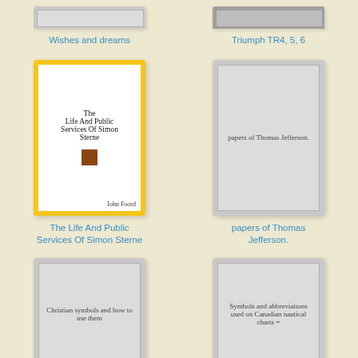[Figure (illustration): Partial top of a gray book cover for 'Wishes and dreams']
Wishes and dreams
[Figure (illustration): Partial top of a gray book cover for 'Triumph TR4, 5, 6']
Triumph TR4, 5, 6
[Figure (illustration): Yellow book cover for 'The Life And Public Services Of Simon Sterne' by John Foord]
The Life And Public Services Of Simon Sterne
[Figure (illustration): Gray book cover with text 'papers of Thomas Jefferson.']
papers of Thomas Jefferson.
[Figure (illustration): Gray book cover with text 'Christian symbols and how to use them']
[Figure (illustration): Gray book cover with text 'Symbols and abbreviations used on Canadian nautical charts =']